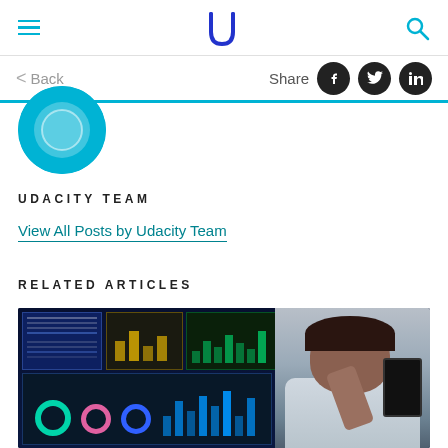Udacity navigation bar with hamburger menu, Udacity logo, and search icon
< Back
Share
[Figure (illustration): Udacity author avatar circle in teal/cyan color, partially visible]
UDACITY TEAM
View All Posts by Udacity Team
RELATED ARTICLES
[Figure (photo): Woman holding a tablet looking at multiple data dashboard screens showing charts and analytics]